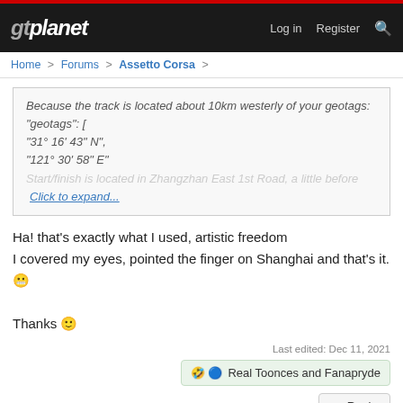gtplanet   Log in   Register
Home > Forums > Assetto Corsa >
Because the track is located about 10km westerly of your geotags:
"geotags": [
"31° 16' 43" N",
"121° 30' 58" E"
Start/finish is located in Zhangzhan East 1st Road, a little before  Click to expand...
Ha! that's exactly what I used, artistic freedom
I covered my eyes, pointed the finger on Shanghai and that's it. 😜

Thanks 🙂
Last edited: Dec 11, 2021
🤣 👤 Real Toonces and Fanapryde
↩ Reply